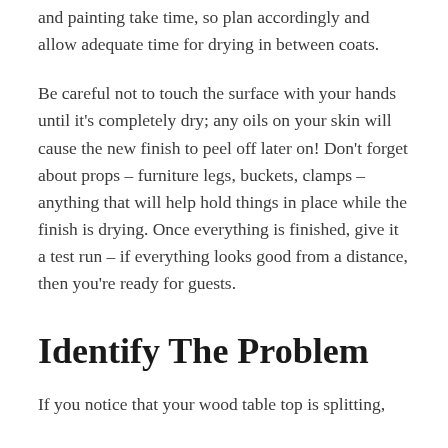and painting take time, so plan accordingly and allow adequate time for drying in between coats.
Be careful not to touch the surface with your hands until it's completely dry; any oils on your skin will cause the new finish to peel off later on! Don't forget about props – furniture legs, buckets, clamps – anything that will help hold things in place while the finish is drying. Once everything is finished, give it a test run – if everything looks good from a distance, then you're ready for guests.
Identify The Problem
If you notice that your wood table top is splitting,